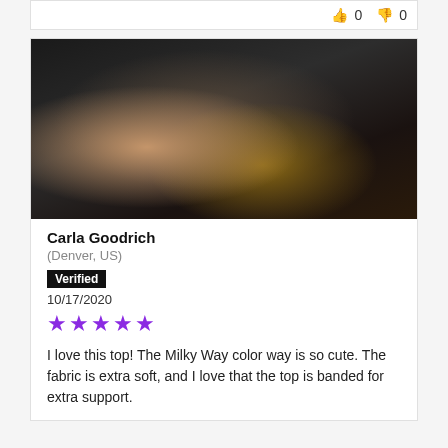👍 0  👎 0
[Figure (photo): Photo of a woman lying down wearing a dark top with sparkle details and a brown fuzzy jacket]
Carla Goodrich
(Denver, US)
Verified
10/17/2020
★★★★★
I love this top! The Milky Way color way is so cute. The fabric is extra soft, and I love that the top is banded for extra support.